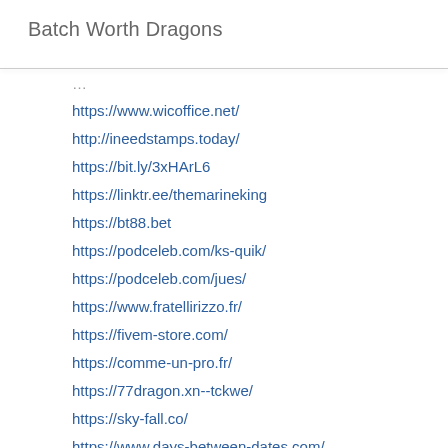Batch Worth Dragons
https://www.wicoffice.net/
http://ineedstamps.today/
https://bit.ly/3xHArL6
https://linktr.ee/themarineking
https://bt88.bet
https://podceleb.com/ks-quik/
https://podceleb.com/jues/
https://www.fratellirizzo.fr/
https://fivem-store.com/
https://comme-un-pro.fr/
https://77dragon.xn--tckwe/
https://sky-fall.co/
https://www.days-between-dates.com/
Pomerania
Perros Pomerania
OC air conditioning service